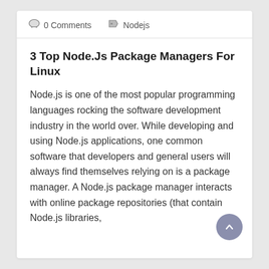0 Comments   Nodejs
3 Top Node.Js Package Managers For Linux
Node.js is one of the most popular programming languages rocking the software development industry in the world over. While developing and using Node.js applications, one common software that developers and general users will always find themselves relying on is a package manager. A Node.js package manager interacts with online package repositories (that contain Node.js libraries,